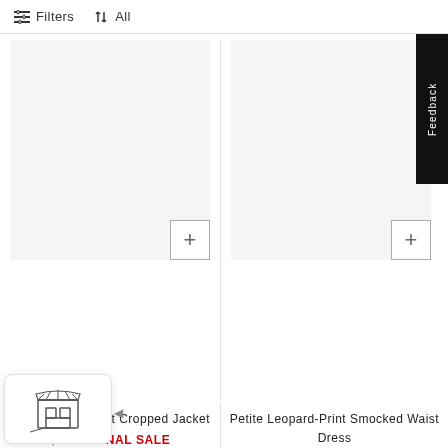Filters   ↕ All
Petite Snake-Print Cropped Jacket
$49.98 FINAL SALE  $160.00
Petite Leopard-Print Smocked Waist Dress
$49.98 FINAL SALE  $150.00
Online Exclusive